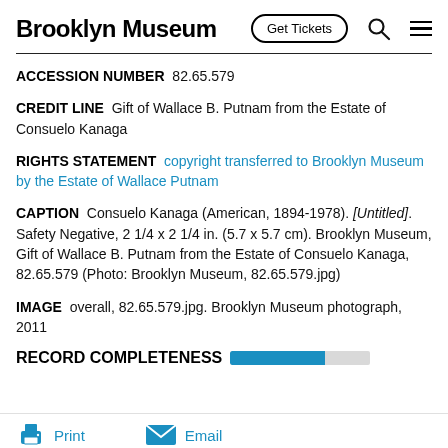Brooklyn Museum
ACCESSION NUMBER   82.65.579
CREDIT LINE   Gift of Wallace B. Putnam from the Estate of Consuelo Kanaga
RIGHTS STATEMENT   copyright transferred to Brooklyn Museum by the Estate of Wallace Putnam
CAPTION   Consuelo Kanaga (American, 1894-1978). [Untitled]. Safety Negative, 2 1/4 x 2 1/4 in. (5.7 x 5.7 cm). Brooklyn Museum, Gift of Wallace B. Putnam from the Estate of Consuelo Kanaga, 82.65.579 (Photo: Brooklyn Museum, 82.65.579.jpg)
IMAGE   overall, 82.65.579.jpg. Brooklyn Museum photograph, 2011
RECORD COMPLETENESS
Print   Email